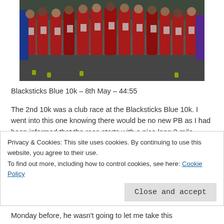[Figure (photo): Group photo of runners in red race bibs at the Blacksticks Blue 10k event, standing on a road before the race start]
Blacksticks Blue 10k – 8th May – 44:55
The 2nd 10k was a club race at the Blacksticks Blue 10k. I went into this one knowing there would be no new PB as I had been informed that the race starts with a nice long 3 mile climb! It was also probably the hottest day of the year and I had my Nieces birthday party that afternoon so I had to save some energy for the bouncy castle!
Privacy & Cookies: This site uses cookies. By continuing to use this website, you agree to their use.
To find out more, including how to control cookies, see here: Cookie Policy
Monday before, he wasn't going to let me take this